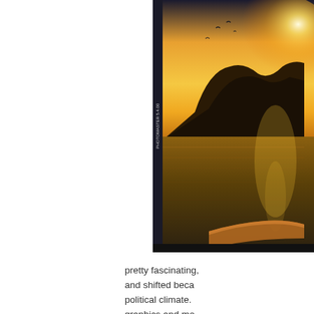[Figure (photo): Partial view of a book/Blu-ray cover showing a dramatic sunset over water with mountains or islands in the background, warm golden tones. The cover has a thin spine visible on the left edge.]
pretty fascinating, and shifted because of the political climate. graphics and mo
Last we have Ma The Complete Se Creek Entertainm Bronson starred freelance photog York City and for